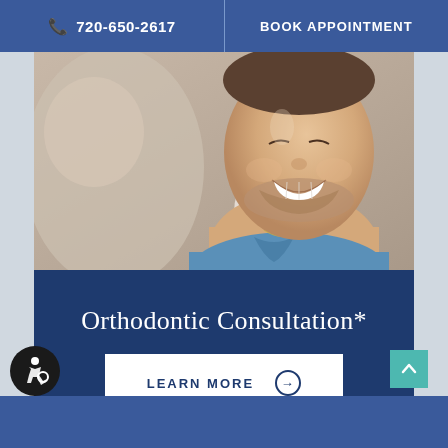📞 720-650-2617  |  BOOK APPOINTMENT
[Figure (photo): A smiling man with short beard wearing a denim shirt, leaning back in a dental chair, appearing relaxed and happy at a dental/orthodontic office]
Orthodontic Consultation*
LEARN MORE →